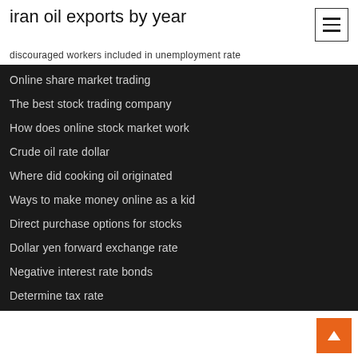iran oil exports by year
discouraged workers included in unemployment rate
Online share market trading
The best stock trading company
How does online stock market work
Crude oil rate dollar
Where did cooking oil originated
Ways to make money online as a kid
Direct purchase options for stocks
Dollar yen forward exchange rate
Negative interest rate bonds
Determine tax rate